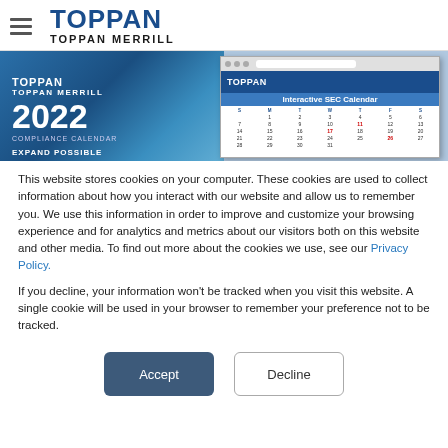TOPPAN TOPPAN MERRILL
[Figure (screenshot): Toppan Merrill 2022 Compliance Calendar promotional image alongside an Interactive SEC Calendar screenshot]
This website stores cookies on your computer. These cookies are used to collect information about how you interact with our website and allow us to remember you. We use this information in order to improve and customize your browsing experience and for analytics and metrics about our visitors both on this website and other media. To find out more about the cookies we use, see our Privacy Policy.
If you decline, your information won’t be tracked when you visit this website. A single cookie will be used in your browser to remember your preference not to be tracked.
Accept | Decline